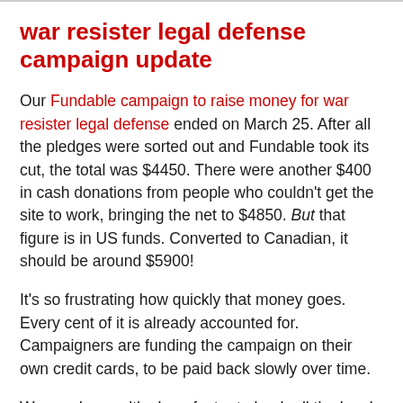war resister legal defense campaign update
Our Fundable campaign to raise money for war resister legal defense ended on March 25. After all the pledges were sorted out and Fundable took its cut, the total was $4450. There were another $400 in cash donations from people who couldn't get the site to work, bringing the net to $4850. But that figure is in US funds. Converted to Canadian, it should be around $5900!
It's so frustrating how quickly that money goes. Every cent of it is already accounted for. Campaigners are funding the campaign on their own credit cards, to be paid back slowly over time.
We need a wealthy benefactor to bankroll the legal campaign until we can get a law passed for all the resisters to stay.